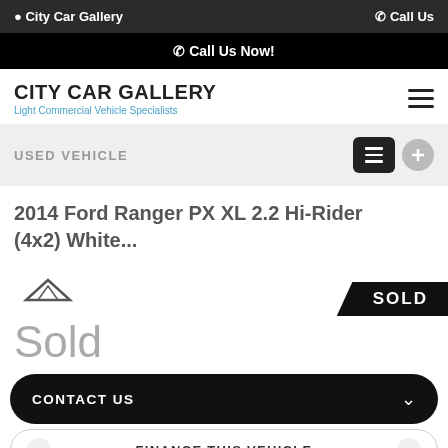City Car Gallery   Call Us
Call Us Now!
CITY CAR GALLERY
Light Commercial Vehicle Specialists
USED VEHICLE
2014 Ford Ranger PX XL 2.2 Hi-Rider (4x2) White...
SOLD
Sold
CONTACT US
FINANCE THIS VEHICLE